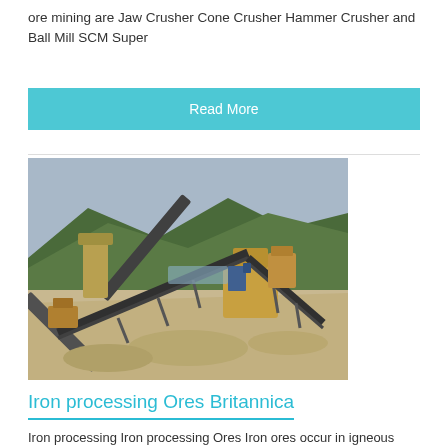ore mining are Jaw Crusher Cone Crusher Hammer Crusher and Ball Mill SCM Super
Read More
[Figure (photo): Aerial view of an open-pit mining operation with conveyor belts, crushers, and heavy machinery on sandy ground with mountains in the background.]
Iron processing Ores Britannica
Iron processing Iron processing Ores Iron ores occur in igneous